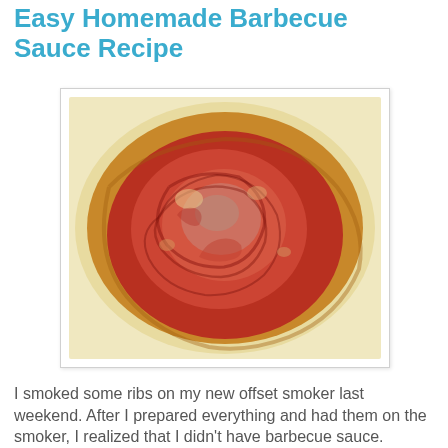Easy Homemade Barbecue Sauce Recipe
[Figure (photo): Top-down view of homemade barbecue sauce in a glass bowl, showing glossy red-orange sauce with swirling patterns against a cream/yellow-tinted bowl interior.]
I smoked some ribs on my new offset smoker last weekend. After I prepared everything and had them on the smoker, I realized that I didn't have barbecue sauce.